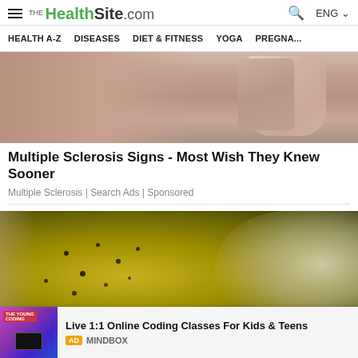THE HealthSite.com | ENG
HEALTH A-Z | DISEASES | DIET & FITNESS | YOGA | PREGNA...
[Figure (photo): Close-up photo of a person scratching the back of their ankle/leg, indicating skin irritation or itching.]
Multiple Sclerosis Signs - Most Wish They Knew Sooner
Multiple Sclerosis | Search Ads | Sponsored
[Figure (photo): Close-up macro photo of what appears to be a yellow/golden substance with dark speckles, possibly related to a nail fungus or skin treatment product.]
Live 1:1 Online Coding Classes For Kids & Teens
AD MINDBOX